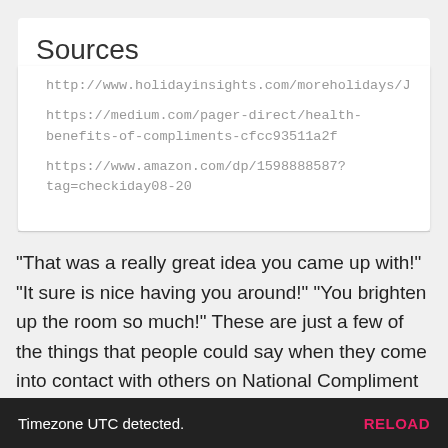Sources
http://www.holidayinsights.com/moreholidays/J
https://medium.com/pager-direct/health-benefits-of-compliments-cfcc93511a2f
https://www.amazon.com/dp/1598888587?tag=checkiday08-20
"That was a really great idea you came up with!" "It sure is nice having you around!" "You brighten up the room so much!" These are just a few of the things that people could say when they come into contact with others on National Compliment Day. To be celebrated properly, those participating are to give out at least five compliments to different people. Complimenting others is an easy way to connect and it benefits both the giver and the receiver. When someone participates in an act of kindness, such as complimenting, a whole group of positive things may be experienced. Compliments help
Timezone UTC detected.  RELOAD